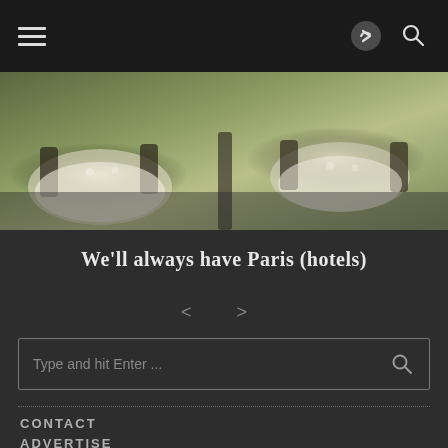Navigation bar with hamburger menu, share icon, and search icon
[Figure (photo): Restaurant dining room with round tables set with white tablecloths, formal place settings, and dark wooden chairs with beige upholstery]
We'll always have Paris (hotels)
< >
Type and hit Enter ...
CONTACT
ADVERTISE